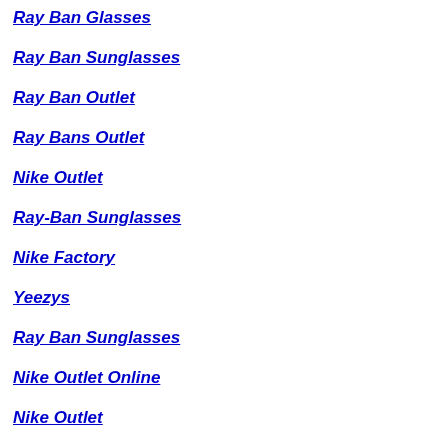Ray Ban Glasses
Ray Ban Sunglasses
Ray Ban Outlet
Ray Bans Outlet
Nike Outlet
Ray-Ban Sunglasses
Nike Factory
Yeezys
Ray Ban Sunglasses
Nike Outlet Online
Nike Outlet
Yeezy Shoes
Nike Trai...